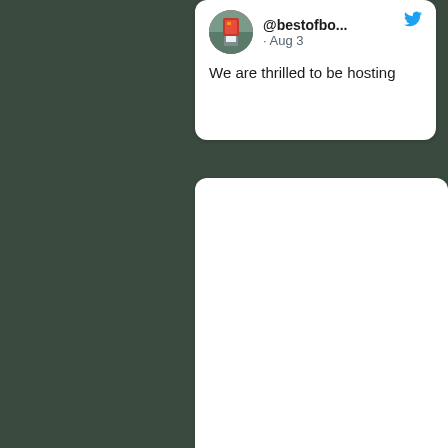[Figure (screenshot): Screenshot of a Twitter/social media feed showing a tweet from @bestofbo... dated Aug 3 with text 'We are thrilled to be hosting', followed by a second white card below with no visible content.]